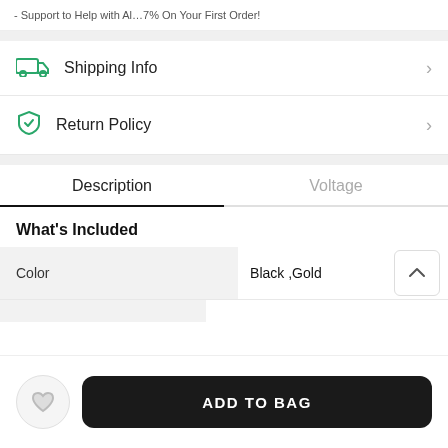Support to Help with Al... • 7% On Your First Order!
Shipping Info
Return Policy
Description | Voltage
What's Included
| Color | Black ,Gold |
| --- | --- |
ADD TO BAG